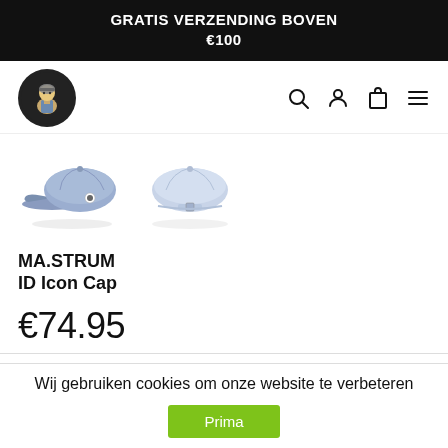GRATIS VERZENDING BOVEN €100
[Figure (logo): Round black logo with illustrated character wearing overalls and helmet, navigation bar with search, account, cart, and menu icons]
[Figure (photo): Two product thumbnail images of a blue/grey five-panel cap: front view showing cap with logo badge, and rear/side view of cap]
MA.STRUM
ID Icon Cap
€74.95
Five Panel cap met afneembare MA.Strum
Wij gebruiken cookies om onze website te verbeteren